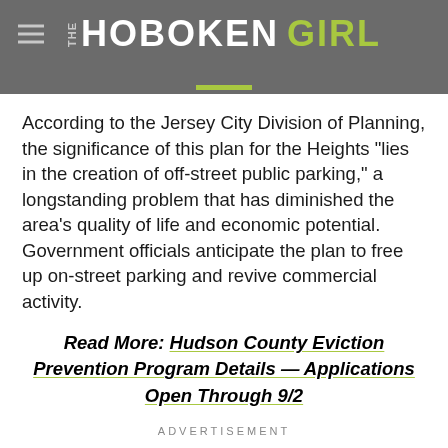THE HOBOKEN GIRL
According to the Jersey City Division of Planning, the significance of this plan for the Heights “lies in the creation of off-street public parking,” a longstanding problem that has diminished the area’s quality of life and economic potential. Government officials anticipate the plan to free up on-street parking and revive commercial activity.
Read More: Hudson County Eviction Prevention Program Details — Applications Open Through 9/2
ADVERTISEMENT